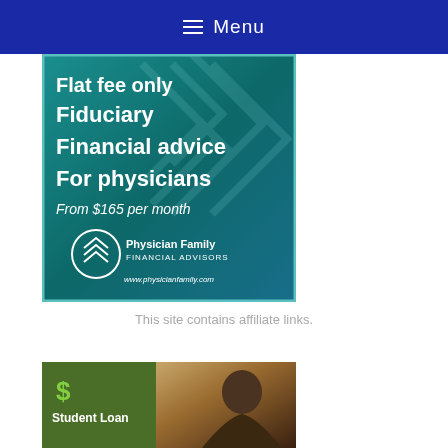≡ Menu
[Figure (illustration): Advertisement banner for Physician Family Financial Advisors. Teal/dark green background with decorative chevron pattern. Text reads: Flat fee only Fiduciary Financial advice For physicians From $165 per month. Logo: circular emblem with chevron/shield design, 'Physician Family FINANCIAL ADVISORS', www.physicianfamily.com]
This site contains affiliate links.
[Figure (illustration): Partial advertisement banner showing a green left panel with dollar sign and 'Student Loan' text, and a right panel showing a dark/warm brown background with a man's photo.]